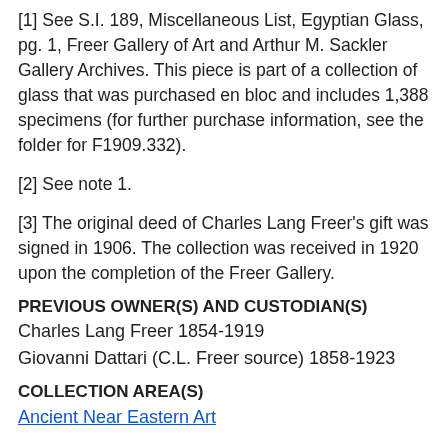[1] See S.I. 189, Miscellaneous List, Egyptian Glass, pg. 1, Freer Gallery of Art and Arthur M. Sackler Gallery Archives. This piece is part of a collection of glass that was purchased en bloc and includes 1,388 specimens (for further purchase information, see the folder for F1909.332).
[2] See note 1.
[3] The original deed of Charles Lang Freer's gift was signed in 1906. The collection was received in 1920 upon the completion of the Freer Gallery.
PREVIOUS OWNER(S) AND CUSTODIAN(S)
Charles Lang Freer 1854-1919
Giovanni Dattari (C.L. Freer source) 1858-1923
COLLECTION AREA(S)
Ancient Near Eastern Art